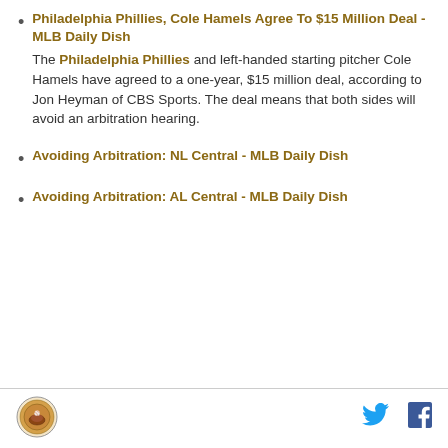Philadelphia Phillies, Cole Hamels Agree To $15 Million Deal - MLB Daily Dish
The Philadelphia Phillies and left-handed starting pitcher Cole Hamels have agreed to a one-year, $15 million deal, according to Jon Heyman of CBS Sports. The deal means that both sides will avoid an arbitration hearing.
Avoiding Arbitration: NL Central - MLB Daily Dish
Avoiding Arbitration: AL Central - MLB Daily Dish
[Figure (logo): Circular logo in footer, left side]